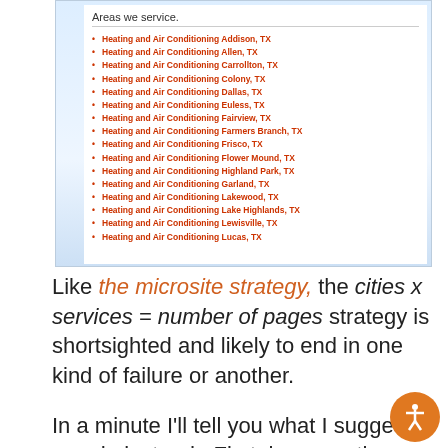[Figure (screenshot): Screenshot of a website showing 'Areas we service.' header with a bulleted list of red links for Heating and Air Conditioning services across various Texas cities.]
Like the microsite strategy, the cities x services = number of pages strategy is shortsighted and likely to end in one kind of failure or another.
In a minute I'll tell you what I suggest you do instead.  First, here are the problems with your rapidly reproducing pages: